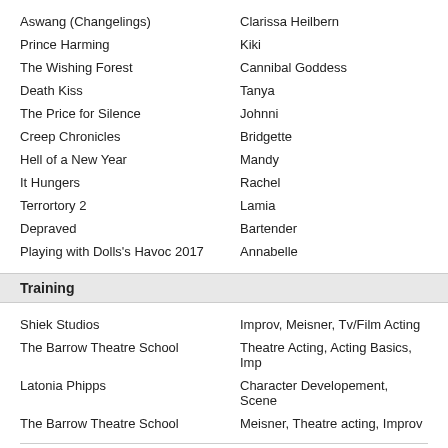Aswang (Changelings) | Clarissa Heilbern
Prince Harming | Kiki
The Wishing Forest | Cannibal Goddess
Death Kiss | Tanya
The Price for Silence | Johnni
Creep Chronicles | Bridgette
Hell of a New Year | Mandy
It Hungers | Rachel
Terrortory 2 | Lamia
Depraved | Bartender
Playing with Dolls's Havoc 2017 | Annabelle
Training
Shiek Studios | Improv, Meisner, Tv/Film Acting
The Barrow Theatre School | Theatre Acting, Acting Basics, Imp
Latonia Phipps | Character Developement, Scene
The Barrow Theatre School | Meisner, Theatre acting, Improv